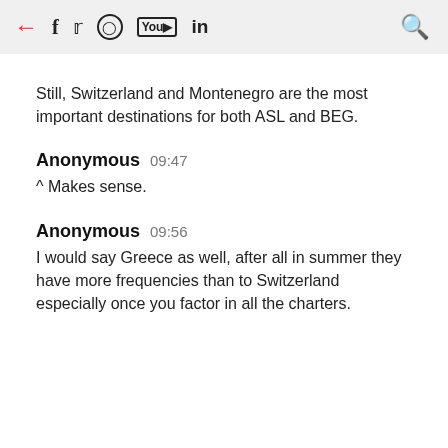← f  in [social icons] 🔍
Still, Switzerland and Montenegro are the most important destinations for both ASL and BEG.
Anonymous  09:47
^ Makes sense.
Anonymous  09:56
I would say Greece as well, after all in summer they have more frequencies than to Switzerland especially once you factor in all the charters.